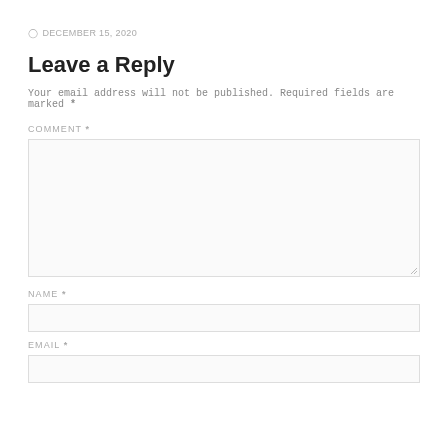DECEMBER 15, 2020
Leave a Reply
Your email address will not be published. Required fields are marked *
COMMENT *
NAME *
EMAIL *